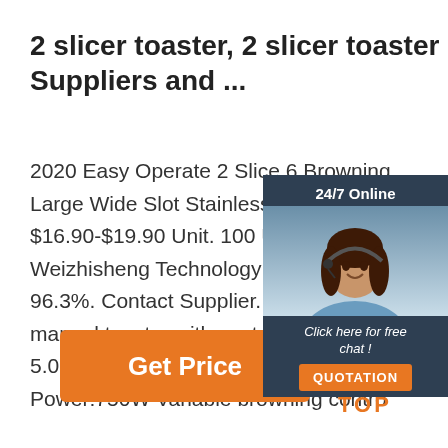2 slicer toaster, 2 slicer toaster Suppliers and ...
2020 Easy Operate 2 Slice 6 Browning Levels Large Wide Slot Stainless Steel Toaster. $16.90-$19.90 Unit. 100 Units (Min. O Weizhisheng Technology Co., Ltd. 1 Y 96.3%. Contact Supplier. New style 2 manual toaster with control ... 18 YRS 5.0 (4) Contact Supplier. 2slice Toaster Power:750W Variable browning contro
[Figure (other): Chat widget overlay showing '24/7 Online' header, photo of a woman with headset, 'Click here for free chat!' text, and orange QUOTATION button]
[Figure (other): Orange 'Get Price' button]
[Figure (logo): Orange dotted arc above 'TOP' text forming a logo]